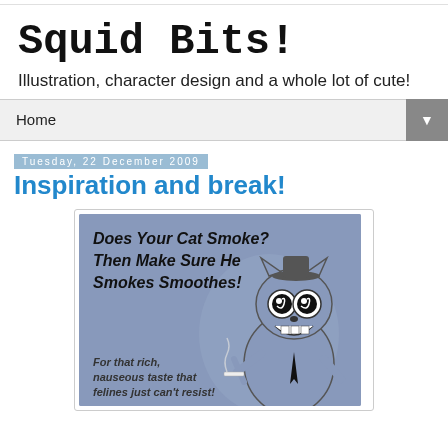Squid Bits!
Illustration, character design and a whole lot of cute!
Home
Tuesday, 22 December 2009
Inspiration and break!
[Figure (illustration): Vintage-style cartoon illustration of a cat smoking, with text: Does Your Cat Smoke? Then Make Sure He Smokes Smoothes!™ For that rich, nauseous taste that felines just can't resist!]